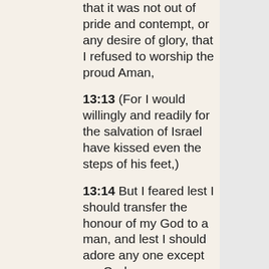that it was not out of pride and contempt, or any desire of glory, that I refused to worship the proud Aman,
13:13 (For I would willingly and readily for the salvation of Israel have kissed even the steps of his feet,)
13:14 But I feared lest I should transfer the honour of my God to a man, and lest I should adore any one except my God.
13:15 And now, O Lord, O king, O